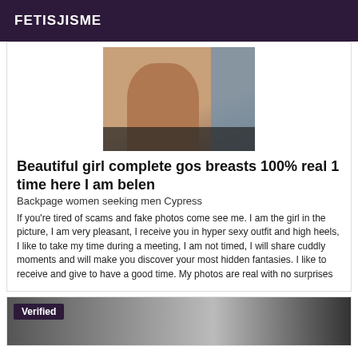FETISJISME
[Figure (photo): Cropped photo showing a person's back/torso area]
Beautiful girl complete gos breasts 100% real 1 time here I am belen
Backpage women seeking men Cypress
If you're tired of scams and fake photos come see me. I am the girl in the picture, I am very pleasant, I receive you in hyper sexy outfit and high heels, I like to take my time during a meeting, I am not timed, I will share cuddly moments and will make you discover your most hidden fantasies. I like to receive and give to have a good time. My photos are real with no surprises
[Figure (photo): Second listing card with Verified badge]